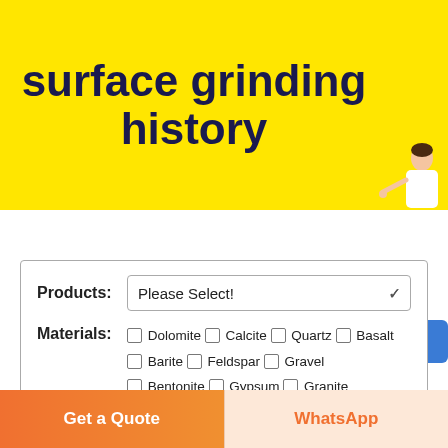surface grinding history
[Figure (illustration): Person with headset pointing, next to a blue 'Free chat' button widget in the bottom-right of the yellow banner]
Products: Please Select!
Materials: □ Dolomite □ Calcite □ Quartz □ Basalt □ Barite □ Feldspar □ Gravel □ Bentonite □ Gypsum □ Granite
Get a Quote
WhatsApp